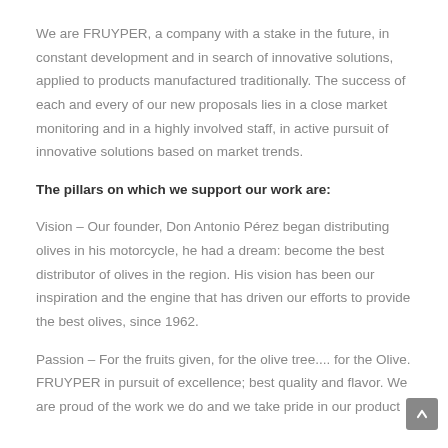We are FRUYPER, a company with a stake in the future, in constant development and in search of innovative solutions, applied to products manufactured traditionally. The success of each and every of our new proposals lies in a close market monitoring and in a highly involved staff, in active pursuit of innovative solutions based on market trends.
The pillars on which we support our work are:
Vision – Our founder, Don Antonio Pérez began distributing olives in his motorcycle, he had a dream: become the best distributor of olives in the region. His vision has been our inspiration and the engine that has driven our efforts to provide the best olives, since 1962.
Passion – For the fruits given, for the olive tree.... for the Olive. FRUYPER in pursuit of excellence; best quality and flavor. We are proud of the work we do and we take pride in our product